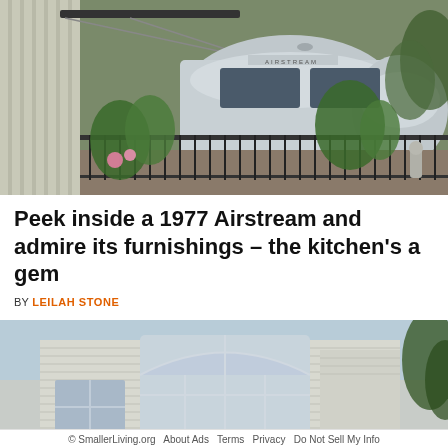[Figure (photo): An Airstream trailer parked in a backyard garden area with plants, flowers, iron fence, and a neighboring house visible.]
Peek inside a 1977 Airstream and admire its furnishings – the kitchen's a gem
BY LEILAH STONE
[Figure (photo): Exterior of a white house with large arched windows and siding, with trees visible on the right.]
© SmallerLiving.org  About Ads  Terms  Privacy  Do Not Sell My Info